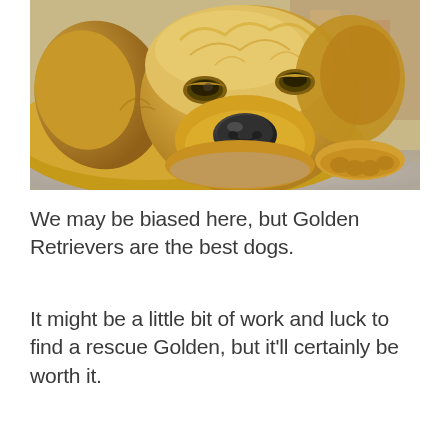[Figure (photo): Close-up photo of a Golden Retriever dog lying down with its head resting on the floor, eyes half-closed, appearing relaxed or sleepy. The dog has golden/cream colored fur. Background is slightly blurred.]
We may be biased here, but Golden Retrievers are the best dogs.
It might be a little bit of work and luck to find a rescue Golden, but it'll certainly be worth it.